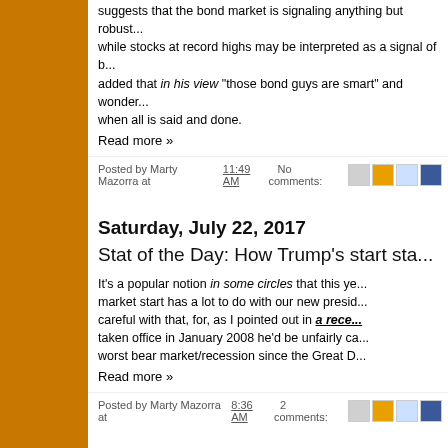suggests that the bond market is signaling anything but robust... while stocks at record highs may be interpreted as a signal of b... added that in his view "those bond guys are smart" and wonder... when all is said and done.
Read more »
Posted by Marty Mazorra at 11:49 AM   No comments:
Saturday, July 22, 2017
Stat of the Day: How Trump's start sta...
It's a popular notion in some circles that this ye... market start has a lot to do with our new presid... careful with that, for, as I pointed out in a rece... taken office in January 2008 he'd be unfairly ca... worst bear market/recession since the Great D...
Read more »
Posted by Marty Mazorra at 8:36 AM   2 comments: